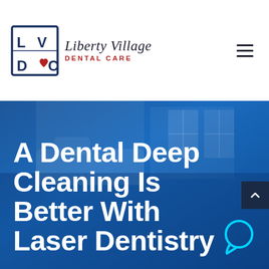[Figure (logo): Liberty Village Dental Care logo with LV DC initials in a blue and red bordered square icon, with script and bold text]
[Figure (photo): Dental office room with blue overlay tint showing dental chair and equipment in background]
A Dental Deep Cleaning Is Better With Laser Dentistry